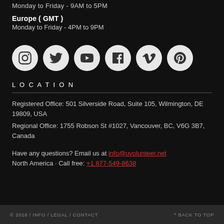Monday to Friday - 9AM to 5PM
Europe ( GMT )
Monday to Friday - 4PM to 9PM
[Figure (infographic): Row of 6 social media icons in white circles: Instagram, Twitter, YouTube, Facebook, Vimeo, Pinterest]
LOCATION
Registered Office: 501 Silverside Road, Suite 105, Wilmington, DE 19809, USA
Regional Office:  1755 Robson St #1027, Vancouver, BC, V6G 3B7, Canada
Have any questions? Email us at info@uvolunteer.net
North America · Call free: +1 877-549-8638
© 2018 / INFO / LEGAL / CONTACT    ^ BACK TO TOP